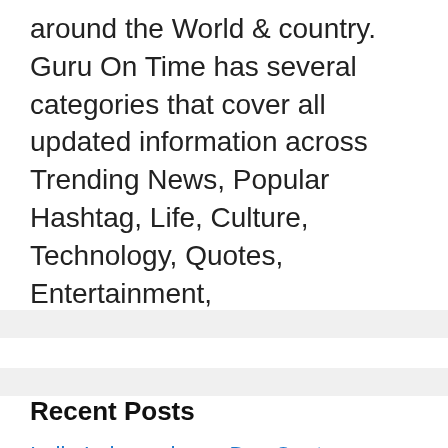around the World & country. Guru On Time has several categories that cover all updated information across Trending News, Popular Hashtag, Life, Culture, Technology, Quotes, Entertainment,
Recent Posts
India Independence Day Quotes: Patriotic Quotes by Freedom Fighters of India
India Independence Day Images, Wishes, WhatsApp, Twitter and Facebook Status